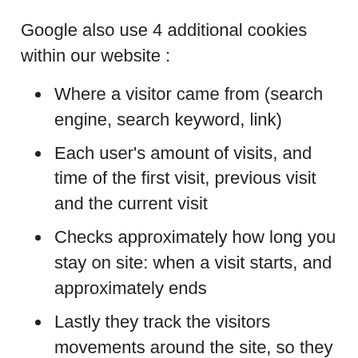Google also use 4 additional cookies within our website :
Where a visitor came from (search engine, search keyword, link)
Each user's amount of visits, and time of the first visit, previous visit and the current visit
Checks approximately how long you stay on site: when a visit starts, and approximately ends
Lastly they track the visitors movements around the site, so they change as each page is loaded
It is important to note that additionally, cookies may be written by 3rd party video providers (e.g. Vimeo) when that content is viewed.
No specific cookies are written when documents are downloaded or forms are submitted, but those